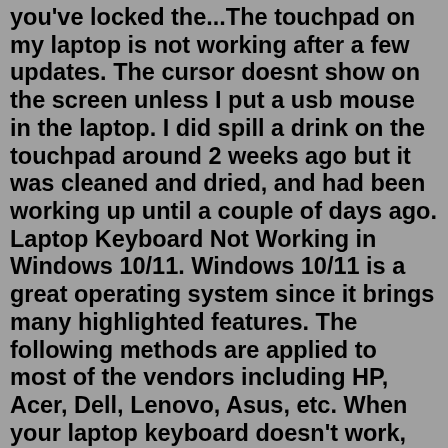you've locked the...The touchpad on my laptop is not working after a few updates. The cursor doesnt show on the screen unless I put a usb mouse in the laptop. I did spill a drink on the touchpad around 2 weeks ago but it was cleaned and dried, and had been working up until a couple of days ago. Laptop Keyboard Not Working in Windows 10/11. Windows 10/11 is a great operating system since it brings many highlighted features. The following methods are applied to most of the vendors including HP, Acer, Dell, Lenovo, Asus, etc. When your laptop keyboard doesn't work, try these solutions.Acer Aspire 7 A715-41G-R7X4 Laptop comes with these high level specs: AMD Ryzen 5 3550H Quad-Core Processor 2.1GHz with Precision Boost up to 4.7GHz, 15.6" Full HD (1920 x 1080) widescreen LED-backlit IPS display, 16:9 aspect ratio, NVIDIA GeForce GTX 1650 with 4GB of dedicated GDDR6 VRAM, 8GB DDR4 2666MHz Memory, 512GB PCIe NVMe SSD, Two Built-in Stereo Speakers, Two Built-in Microphones, 802 ... For various reasons, keyboards on both laptops and